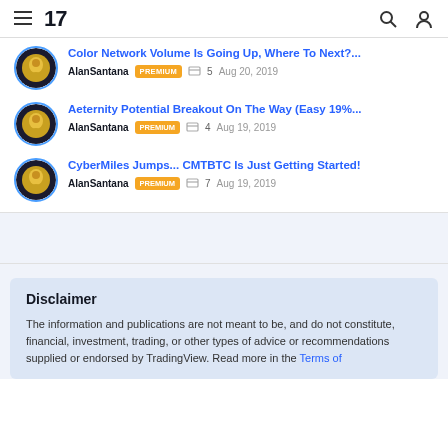TradingView navigation bar with hamburger menu, logo '17', search icon, and user icon
Color Network Volume Is Going Up, Where To Next?... AlanSantana PREMIUM 5 Aug 20, 2019
Aeternity Potential Breakout On The Way (Easy 19%... AlanSantana PREMIUM 4 Aug 19, 2019
CyberMiles Jumps... CMTBTC Is Just Getting Started! AlanSantana PREMIUM 7 Aug 19, 2019
Disclaimer
The information and publications are not meant to be, and do not constitute, financial, investment, trading, or other types of advice or recommendations supplied or endorsed by TradingView. Read more in the Terms of